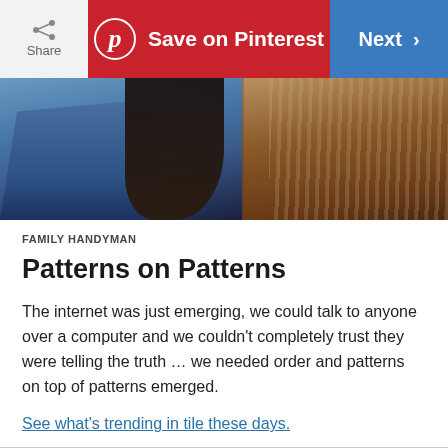Share | Save on Pinterest | Next
[Figure (photo): Photo showing a person wearing denim jeans next to wooden furniture wrapped in plastic/protective covering]
FAMILY HANDYMAN
Patterns on Patterns
The internet was just emerging, we could talk to anyone over a computer and we couldn't completely trust they were telling the truth … we needed order and patterns on top of patterns emerged.
See what's trending in tile these days.